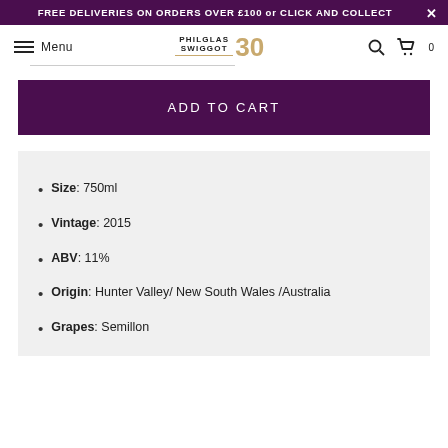FREE DELIVERIES ON ORDERS OVER £100 or CLICK AND COLLECT
[Figure (screenshot): Philglas & Swiggot 30th anniversary logo with hamburger menu icon and Menu text, search icon, and cart icon in navigation bar]
ADD TO CART
Size: 750ml
Vintage: 2015
ABV: 11%
Origin: Hunter Valley/ New South Wales /Australia
Grapes: Semillon